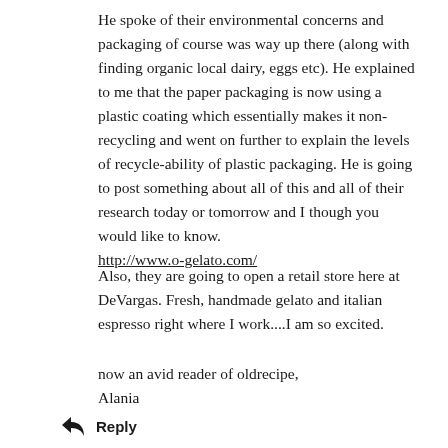He spoke of their environmental concerns and packaging of course was way up there (along with finding organic local dairy, eggs etc). He explained to me that the paper packaging is now using a plastic coating which essentially makes it non-recycling and went on further to explain the levels of recycle-ability of plastic packaging. He is going to post something about all of this and all of their research today or tomorrow and I though you would like to know.
http://www.o-gelato.com/
Also, they are going to open a retail store here at DeVargas. Fresh, handmade gelato and italian espresso right where I work....I am so excited.
now an avid reader of oldrecipe,
Alania
Reply